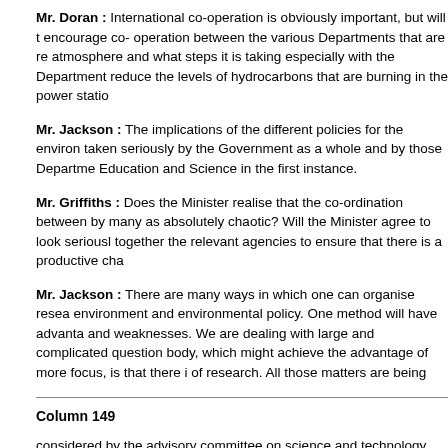Mr. Doran : International co-operation is obviously important, but will the encourage co- operation between the various Departments that are re atmosphere and what steps it is taking especially with the Department reduce the levels of hydrocarbons that are burning in the power statio
Mr. Jackson : The implications of the different policies for the environ taken seriously by the Government as a whole and by those Departme Education and Science in the first instance.
Mr. Griffiths : Does the Minister realise that the co-ordination between by many as absolutely chaotic? Will the Minister agree to look seriousl together the relevant agencies to ensure that there is a productive cha
Mr. Jackson : There are many ways in which one can organise resea environment and environmental policy. One method will have advanta and weaknesses. We are dealing with large and complicated question body, which might achieve the advantage of more focus, is that there i of research. All those matters are being
Column 149
considered by the advisory committee on science and technology, and body in due course.
Dr. Bray : But within the Secretary of State's own responsibilities, is th councils directly concerned--the Natural Environment Research Counc Agricultural and Food Research Council and the Economic and Social be strong support for such a move among all the research councils? Is many unfortunate precedents enormously increase the scope for erro actually implemented? Will he buck up his ideas?